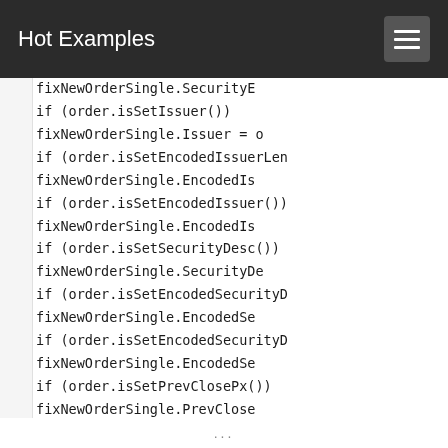Hot Examples
Code snippet showing Java/C# FIX order single field mapping with isSet checks: fixNewOrderSingle.SecurityE..., if (order.isSetIssuer()) fixNewOrderSingle.Issuer = o..., if (order.isSetEncodedIssuerLen...) fixNewOrderSingle.EncodedIs..., if (order.isSetEncodedIssuer()) fixNewOrderSingle.EncodedIs..., if (order.isSetSecurityDesc()) fixNewOrderSingle.SecurityDe..., if (order.isSetEncodedSecurityD...) fixNewOrderSingle.EncodedSe..., if (order.isSetEncodedSecurityD...) fixNewOrderSingle.EncodedSe..., if (order.isSetPrevClosePx()) fixNewOrderSingle.PrevClose..., if (order.isSetSide()) fixNew...
...